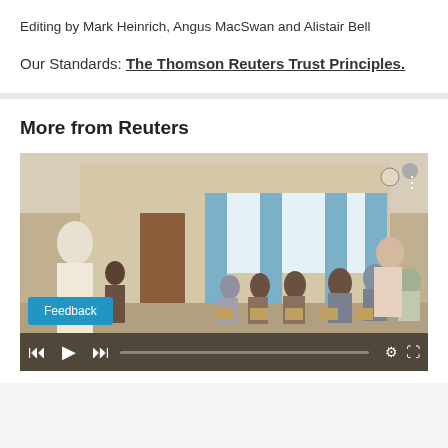Editing by Mark Heinrich, Angus MacSwan and Alistair Bell
Our Standards: The Thomson Reuters Trust Principles.
More from Reuters
[Figure (photo): Video player showing a room with people seated in chairs, video controls at the bottom including previous, play, and next buttons, a feedback button, and settings/fullscreen icons.]